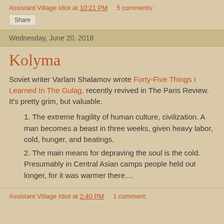Assistant Village Idiot at 10:21 PM   5 comments:
Share
Wednesday, June 20, 2018
Kolyma
Soviet writer Varlam Shalamov wrote Forty-Five Things I Learned In The Gulag, recently revived in The Paris Review.  It's pretty grim, but valuable.
1. The extreme fragility of human culture, civilization. A man becomes a beast in three weeks, given heavy labor, cold, hunger, and beatings.
2. The main means for depraving the soul is the cold. Presumably in Central Asian camps people held out longer, for it was warmer there....
Assistant Village Idiot at 2:40 PM   1 comment: